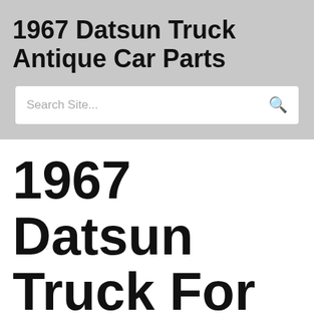1967 Datsun Truck Antique Car Parts
Search Site...
1967 Datsun Truck For